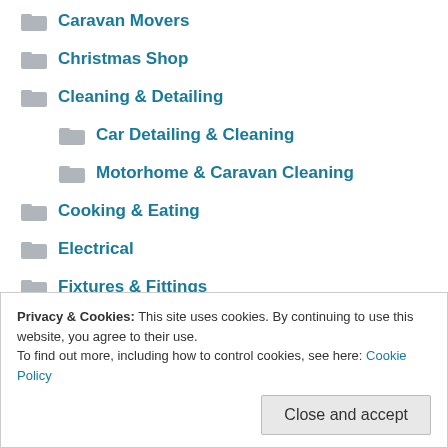Caravan Movers
Christmas Shop
Cleaning & Detailing
Car Detailing & Cleaning
Motorhome & Caravan Cleaning
Cooking & Eating
Electrical
Fixtures & Fittings
For the Car
For the Garden
Privacy & Cookies: This site uses cookies. By continuing to use this website, you agree to their use. To find out more, including how to control cookies, see here: Cookie Policy
Close and accept